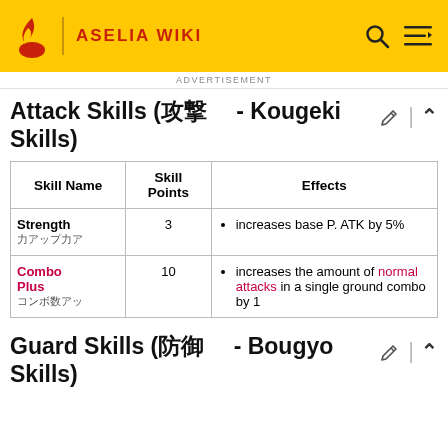ASELIA WIKI
ADVERTISEMENT
Attack Skills (攻撃 - Kougeki Skills)
| Skill Name | Skill Points | Effects |
| --- | --- | --- |
| Strength
力アップ | 3 | increases base P. ATK by 5% |
| Combo Plus
コンボ数アップ | 10 | increases the amount of normal attacks in a single ground combo by 1 |
Guard Skills (防御 - Bougyo Skills)